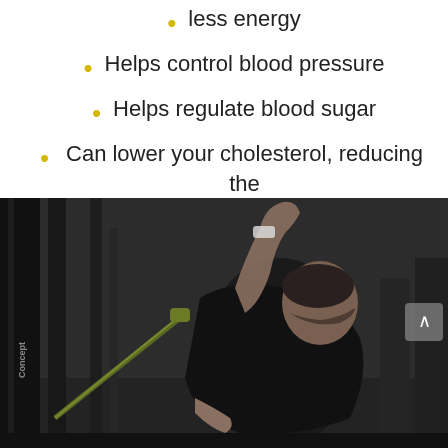less energy
Helps control blood pressure
Helps regulate blood sugar
Can lower your cholesterol, reducing the risk of cardiovascular disease.
[Figure (photo): Man in black shirt using a Concept2 rowing machine in a gym, leaning forward with one arm raised, photographed in dark dramatic lighting.]